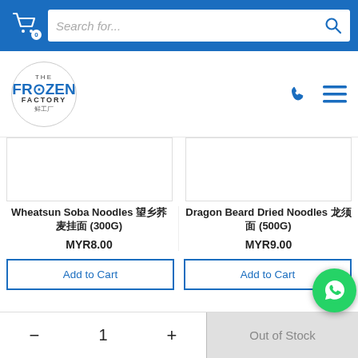[Figure (screenshot): Blue top navigation bar with shopping cart icon showing 0, search bar with placeholder 'Search for...' and blue search icon]
[Figure (logo): The Frozen Factory logo in a circle with Chinese characters 鲜工厂, phone and hamburger menu icons on the right]
Wheatsun Soba Noodles 望乡荞麦挂面 (300G)
MYR8.00
Dragon Beard Dried Noodles 龙须面 (500G)
MYR9.00
Add to Cart
Add to Cart
−
1
+
Out of Stock